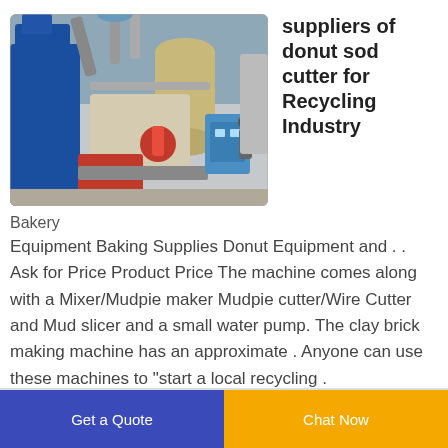[Figure (photo): Industrial recycling/baking equipment machine in a factory setting, showing blue, red, and beige colored machinery with pipes and tanks.]
suppliers of donut sod cutter for Recycling Industry
Bakery
Equipment Baking Supplies Donut Equipment and . . Ask for Price Product Price The machine comes along with a Mixer/Mudpie maker Mudpie cutter/Wire Cutter and Mud slicer and a small water pump. The clay brick making machine has an approximate . Anyone can use these machines to "start a local recycling .